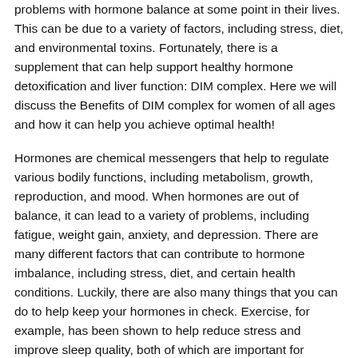problems with hormone balance at some point in their lives. This can be due to a variety of factors, including stress, diet, and environmental toxins. Fortunately, there is a supplement that can help support healthy hormone detoxification and liver function: DIM complex. Here we will discuss the Benefits of DIM complex for women of all ages and how it can help you achieve optimal health!
Hormones are chemical messengers that help to regulate various bodily functions, including metabolism, growth, reproduction, and mood. When hormones are out of balance, it can lead to a variety of problems, including fatigue, weight gain, anxiety, and depression. There are many different factors that can contribute to hormone imbalance, including stress, diet, and certain health conditions. Luckily, there are also many things that you can do to help keep your hormones in check. Exercise, for example, has been shown to help reduce stress and improve sleep quality, both of which are important for maintaining hormone balance. Eating a healthy diet is also important, as certain nutrients (such as omega-3 fatty acids) have been shown to assist in the regulation of hormones.
Millions of women suffer from hormone imbalances, which can